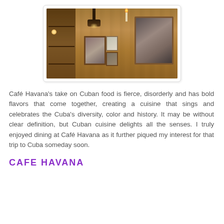[Figure (photo): Interior of Café Havana showing a wooden cabinet with glass shelves on the left, framed photographs on a bamboo-textured wall in the center, and a large black-and-white portrait on the right. A lamp and candle are visible near the ceiling.]
Café Havana's take on Cuban food is fierce, disorderly and has bold flavors that come together, creating a cuisine that sings and celebrates the Cuba's diversity, color and history. It may be without clear definition, but Cuban cuisine delights all the senses. I truly enjoyed dining at Café Havana as it further piqued my interest for that trip to Cuba someday soon.
CAFE HAVANA